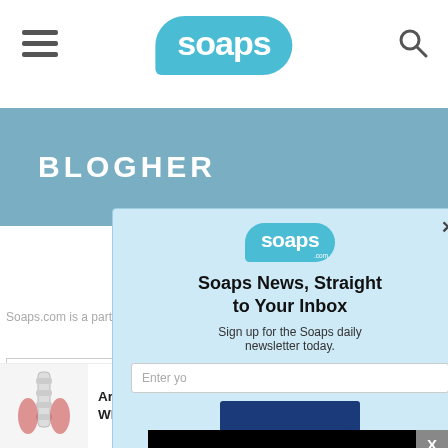soaps (logo) — navigation header with hamburger menu and search icon
[Figure (screenshot): BLogHer banner in teal/steel blue with white uppercase text BLOGHER]
Soaps.com is a part of … Media, LLC. All Rights
[Figure (screenshot): Modal popup with light blue background: Soaps.com logo, heading 'Soaps News, Straight to Your Inbox', subtext 'Sign up for the Soaps daily newsletter today.', email input field, and dark blue subscribe button. X close button in top right.]
[Figure (screenshot): Black video player overlay with loading spinner and X close button]
Our Brands
Are You Suffering From Sciatic Nerve Pain? Find Out Why - Ad